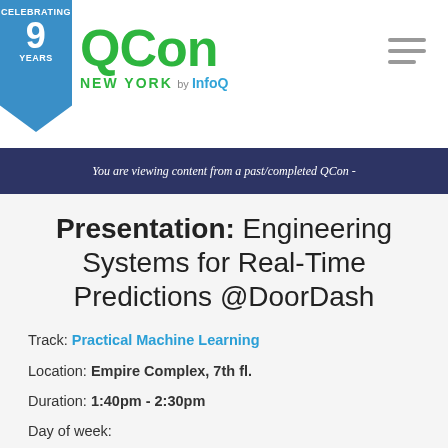[Figure (logo): QCon New York by InfoQ logo with celebrating 9 years badge and hamburger menu]
You are viewing content from a past/completed QCon -
Presentation: Engineering Systems for Real-Time Predictions @DoorDash
Track: Practical Machine Learning
Location: Empire Complex, 7th fl.
Duration: 1:40pm - 2:30pm
Day of week:
Slides: Download Slides NEW!